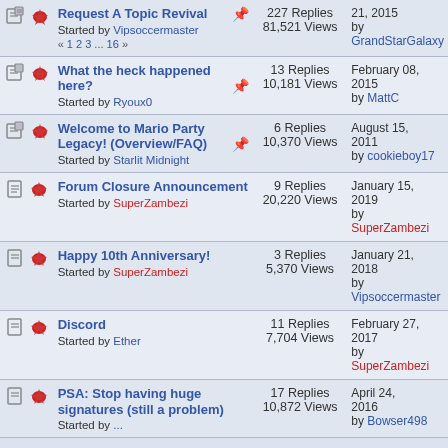| Icons | Topic | Stats | Last Post |
| --- | --- | --- | --- |
| [icons] | Request A Topic Revival
Started by Vipsoccermaster
« 1 2 3 ... 16 » | 227 Replies
81,521 Views | 21, 2015
by GrandStarGalaxy |
| [icons] | What the heck happened here?
Started by Ryoux0 | 13 Replies
10,181 Views | February 08, 2015
by MattC |
| [icons] | Welcome to Mario Party Legacy! (Overview/FAQ)
Started by Starlit Midnight | 6 Replies
10,370 Views | August 15, 2011
by cookieboy17 |
| [icons] | Forum Closure Announcement
Started by SuperZambezi | 9 Replies
20,220 Views | January 15, 2019
by SuperZambezi |
| [icons] | Happy 10th Anniversary!
Started by SuperZambezi | 3 Replies
5,370 Views | January 21, 2018
by Vipsoccermaster |
| [icons] | Discord
Started by Ether | 11 Replies
7,704 Views | February 27, 2017
by SuperZambezi |
| [icons] | PSA: Stop having huge signatures (still a problem)
Started by ... | 17 Replies
10,872 Views | April 24, 2016
by Bowser498 |